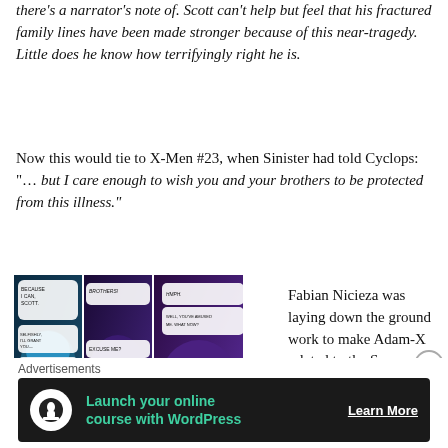there's a narrator's note of. Scott can't help but feel that his fractured family lines have been made stronger because of this near-tragedy. Little does he know how terrifyingly right he is.
Now this would tie to X-Men #23, when Sinister had told Cyclops: "... but I care enough to wish you and your brothers to be protected from this illness."
[Figure (illustration): Comic book panels showing Mr. Sinister speaking to Cyclops, with multiple panels showing character dialogue about brothers and illness]
Fabian Nicieza was laying down the ground work to make Adam-X related to the Summers
Advertisements
[Figure (infographic): Advertisement banner: Launch your online course with WordPress - Learn More button, dark background with teal text and tree/person icon]